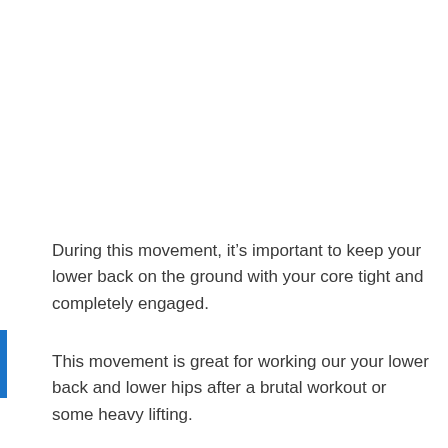During this movement, it’s important to keep your lower back on the ground with your core tight and completely engaged.
This movement is great for working our your lower back and lower hips after a brutal workout or some heavy lifting.
14. Banded Hip Opener Series
soft mobility